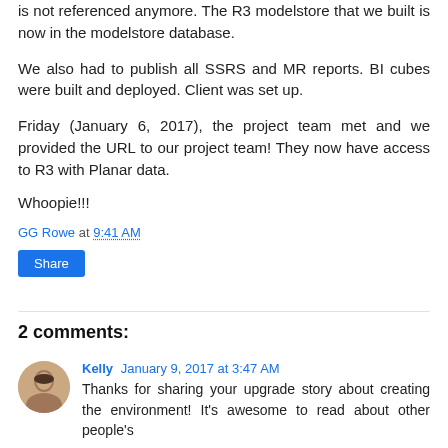is not referenced anymore.  The R3 modelstore that we built is now in the modelstore database.
We also had to publish all SSRS and MR reports.  BI cubes were built and deployed.  Client was set up.
Friday (January 6, 2017), the project team met and we provided the URL to our project team!  They now have access to R3 with Planar data.
Whoopie!!!
GG Rowe at 9:41 AM
Share
2 comments:
Kelly January 9, 2017 at 3:47 AM
Thanks for sharing your upgrade story about creating the environment! It's awesome to read about other people's